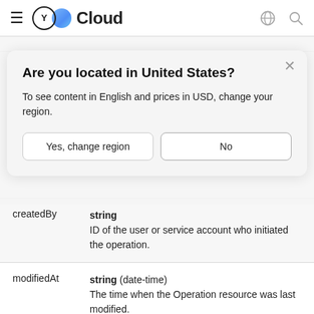≡ Y Cloud
Are you located in United States?
To see content in English and prices in USD, change your region.
Yes, change region | No
| Field | Type / Description |
| --- | --- |
| createdBy | string
ID of the user or service account who initiated the operation. |
| modifiedAt | string (date-time)
The time when the Operation resource was last modified.

String in RFC3339 text format. |